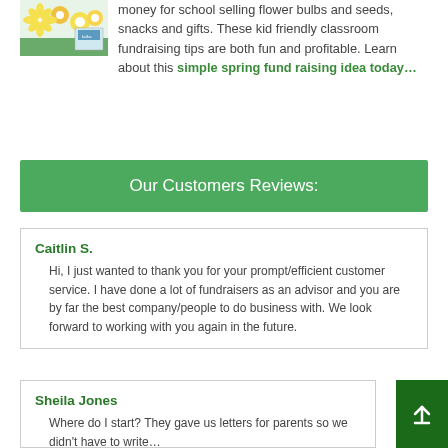money for school selling flower bulbs and seeds, snacks and gifts. These kid friendly classroom fundraising tips are both fun and profitable. Learn about this simple spring fund raising idea today…
Our Customers Reviews:
Caitlin S.
Hi, I just wanted to thank you for your prompt/efficient customer service. I have done a lot of fundraisers as an advisor and you are by far the best company/people to do business with. We look forward to working with you again in the future.
Sheila Jones
Where do I start? They gave us letters for parents so we didn't have to write…